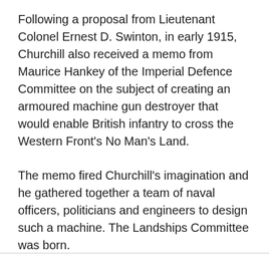Following a proposal from Lieutenant Colonel Ernest D. Swinton, in early 1915, Churchill also received a memo from Maurice Hankey of the Imperial Defence Committee on the subject of creating an armoured machine gun destroyer that would enable British infantry to cross the Western Front's No Man's Land.
The memo fired Churchill's imagination and he gathered together a team of naval officers, politicians and engineers to design such a machine. The Landships Committee was born.